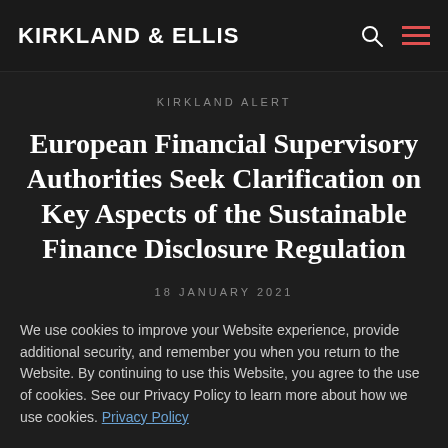KIRKLAND & ELLIS
KIRKLAND ALERT
European Financial Supervisory Authorities Seek Clarification on Key Aspects of the Sustainable Finance Disclosure Regulation
18 JANUARY 2021
We use cookies to improve your Website experience, provide additional security, and remember you when you return to the Website. By continuing to use this Website, you agree to the use of cookies. See our Privacy Policy to learn more about how we use cookies. Privacy Policy